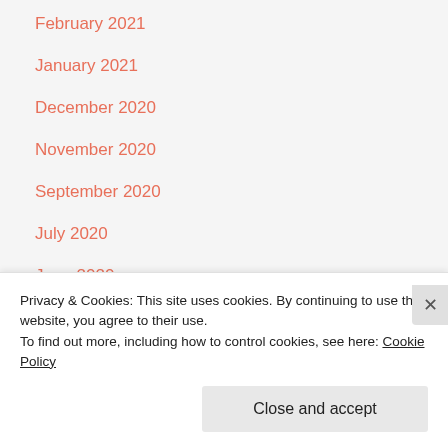February 2021
January 2021
December 2020
November 2020
September 2020
July 2020
June 2020
May 2020
April 2020
March 2020
Privacy & Cookies: This site uses cookies. By continuing to use this website, you agree to their use.
To find out more, including how to control cookies, see here: Cookie Policy
Close and accept